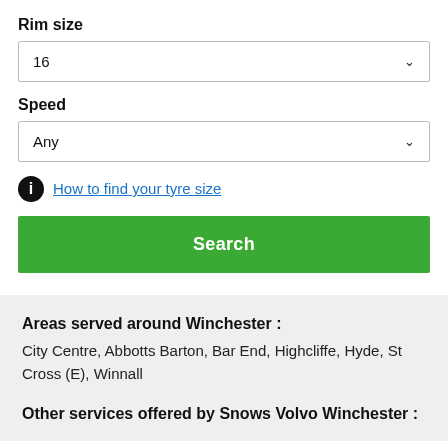Rim size
16
Speed
Any
How to find your tyre size
Search
Areas served around Winchester :
City Centre, Abbotts Barton, Bar End, Highcliffe, Hyde, St Cross (E), Winnall
Other services offered by Snows Volvo Winchester :